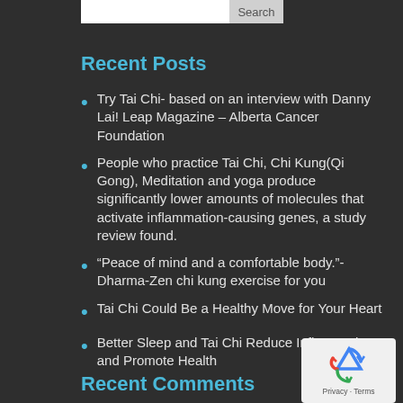Recent Posts
Try Tai Chi- based on an interview with Danny Lai! Leap Magazine – Alberta Cancer Foundation
People who practice Tai Chi, Chi Kung(Qi Gong), Meditation and yoga produce significantly lower amounts of molecules that activate inflammation-causing genes, a study review found.
“Peace of mind and a comfortable body.”-Dharma-Zen chi kung exercise for you
Tai Chi Could Be a Healthy Move for Your Heart
Better Sleep and Tai Chi Reduce Inflammation and Promote Health
Recent Comments